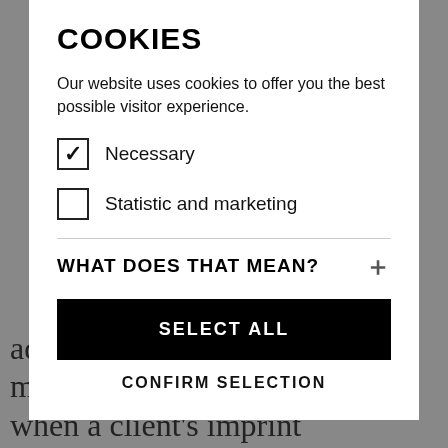COOKIES
Our website uses cookies to offer you the best possible visitor experience.
Necessary (checked)
Statistic and marketing (unchecked)
WHAT DOES THAT MEAN?
SELECT ALL
CONFIRM SELECTION
advised in advance that there might be abreactions, because when a client's imprint